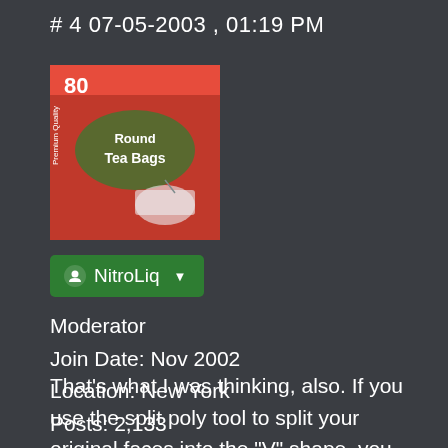# 4 07-05-2003 , 01:19 PM
[Figure (photo): Avatar image showing a red box of 80 Round Tea Bags]
NitroLiq ▼
Moderator
Join Date: Nov 2002
Location: New York
Posts: 2,133
That's what I was thinking, also. If you use the split poly tool to split your original faces into the "V" shape, you